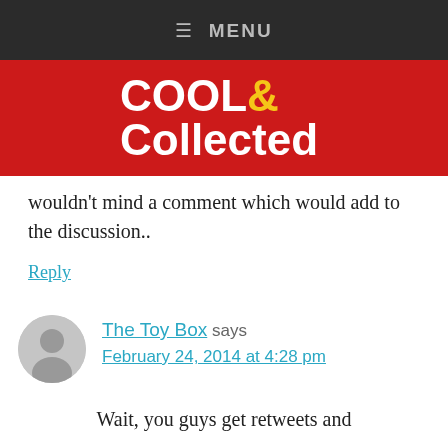≡ MENU
[Figure (logo): Cool & Collected logo — white bold text on red background]
wouldn't mind a comment which would add to the discussion..
Reply
The Toy Box says
February 24, 2014 at 4:28 pm
Wait, you guys get retweets and